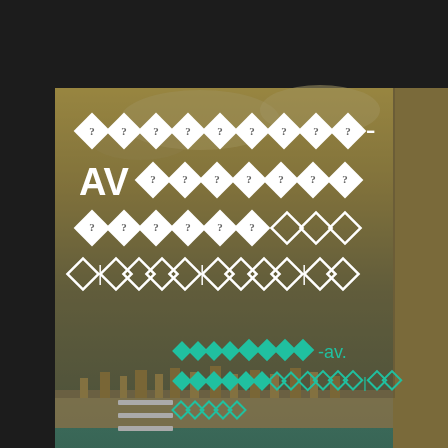[Figure (photo): Book or album cover with a coastal sea scene photo background (water, sky, distant town). Large white diamond/question-mark pattern characters and 'AV' text in top portion on semi-transparent overlay. Teal/green smaller diamond pattern characters for subtitle text in middle-lower portion. Dark background border. Hamburger menu icon at bottom left.]